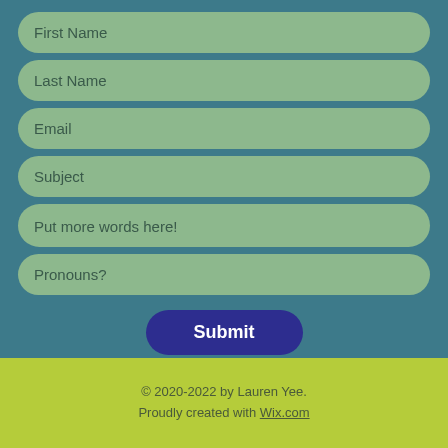First Name
Last Name
Email
Subject
Put more words here!
Pronouns?
Submit
© 2020-2022 by Lauren Yee. Proudly created with Wix.com